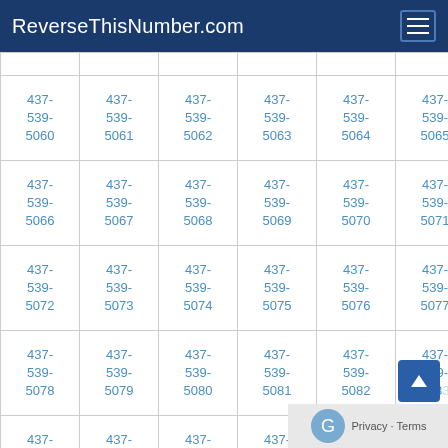ReverseThisNumber.com
|  |  |  |  |  |  |
| --- | --- | --- | --- | --- | --- |
| 437-539-5060 | 437-539-5061 | 437-539-5062 | 437-539-5063 | 437-539-5064 | 437-539-5065 |
| 437-539-5066 | 437-539-5067 | 437-539-5068 | 437-539-5069 | 437-539-5070 | 437-539-5071 |
| 437-539-5072 | 437-539-5073 | 437-539-5074 | 437-539-5075 | 437-539-5076 | 437-539-5077 |
| 437-539-5078 | 437-539-5079 | 437-539-5080 | 437-539-5081 | 437-539-5082 | 437-539-5083 |
| 437-539-5084 | 437-539-5085 | 437-539-5086 | 437-539-5087 | 437-539-5088 | 437-539-5089 |